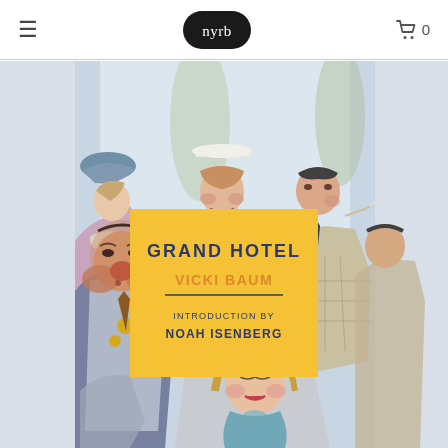≡  nyrb  🛒 0
[Figure (illustration): Book cover illustration for 'Grand Hotel' by Vicki Baum published by NYRB Classics. Features caricature-style watercolor drawing of multiple hotel guests — a woman in blue hat with fur, a mustachioed man in sailor cap, a stout man smoking, a heavy-jowled man with medals, and a blonde woman in purple hat — surrounding a yellow label box in the center with the book title and author information.]
GRAND HOTEL
VICKI BAUM
INTRODUCTION BY NOAH ISENBERG